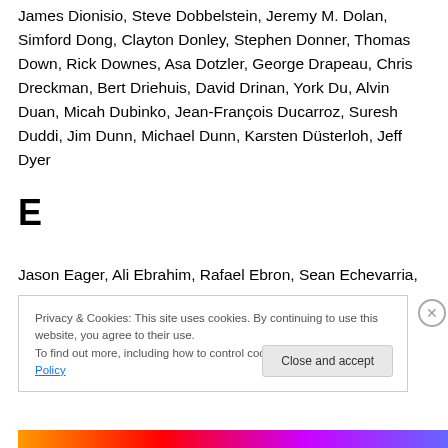James Dionisio, Steve Dobbelstein, Jeremy M. Dolan, Simford Dong, Clayton Donley, Stephen Donner, Thomas Down, Rick Downes, Asa Dotzler, George Drapeau, Chris Dreckman, Bert Driehuis, David Drinan, York Du, Alvin Duan, Micah Dubinko, Jean-François Ducarroz, Suresh Duddi, Jim Dunn, Michael Dunn, Karsten Düsterloh, Jeff Dyer
E
Jason Eager, Ali Ebrahim, Rafael Ebron, Sean Echevarria,
Privacy & Cookies: This site uses cookies. By continuing to use this website, you agree to their use.
To find out more, including how to control cookies, see here: Cookie Policy
Close and accept